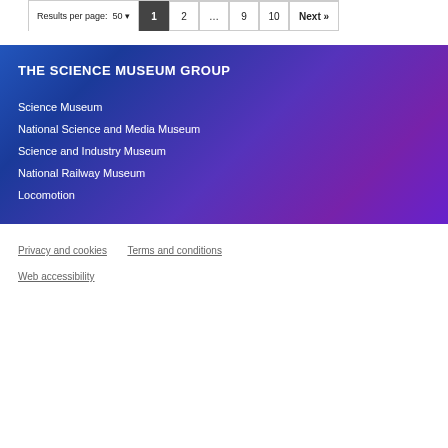Results per page: 50 | 1  2  ...  9  10  Next »
THE SCIENCE MUSEUM GROUP
Science Museum
National Science and Media Museum
Science and Industry Museum
National Railway Museum
Locomotion
Privacy and cookies   Terms and conditions
Web accessibility